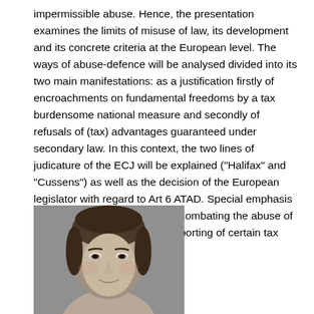impermissible abuse. Hence, the presentation examines the limits of misuse of law, its development and its concrete criteria at the European level. The ways of abuse-defence will be analysed divided into its two main manifestations: as a justification firstly of encroachments on fundamental freedoms by a tax burdensome national measure and secondly of refusals of (tax) advantages guaranteed under secondary law. In this context, the two lines of judicature of the ECJ will be explained ("Halifax" and "Cussens") as well as the decision of the European legislator with regard to Art 6 ATAD. Special emphasis will be placed on new ways of combating the abuse of rights, such as a mandatory reporting of certain tax arrangements .
[Figure (photo): Black and white portrait photo of a woman with her hair pulled back, looking slightly to the side]